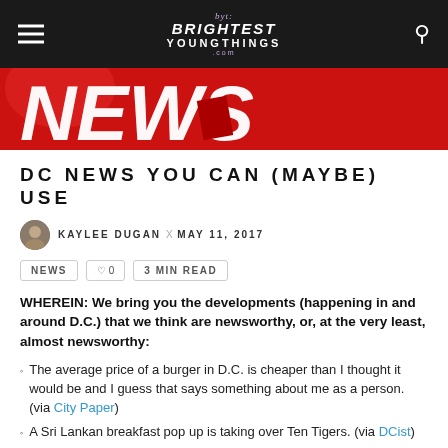byt: BRIGHTEST YOUNG THINGS .com
[Figure (photo): Red background with large white bold italic text reading NEWS]
DC NEWS YOU CAN (MAYBE) USE
KAYLEE DUGAN x MAY 11, 2017
NEWS   ♡ 0   3 MIN READ
WHEREIN: We bring you the developments (happening in and around D.C.) that we think are newsworthy, or, at the very least, almost newsworthy:
The average price of a burger in D.C. is cheaper than I thought it would be and I guess that says something about me as a person. (via City Paper)
A Sri Lankan breakfast pop up is taking over Ten Tigers. (via DCist)